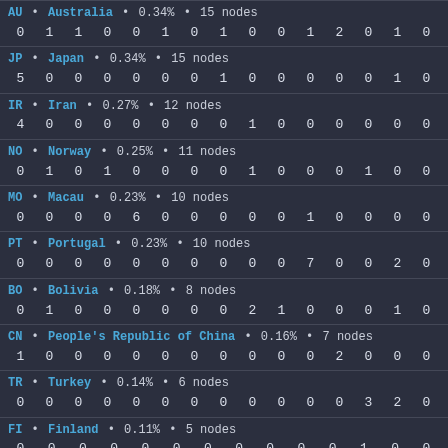AU • Australia • 0.34% • 15 nodes
0 1 1 0 0 1 0 1 0 0 1 2 0 1 0
JP • Japan • 0.34% • 15 nodes
5 0 0 0 0 0 0 1 0 0 0 0 0 1 0
IR • Iran • 0.27% • 12 nodes
4 0 0 0 0 0 0 0 1 0 0 0 0 0 0
NO • Norway • 0.25% • 11 nodes
0 1 0 1 0 0 0 0 1 0 0 0 1 0 0
MO • Macau • 0.23% • 10 nodes
0 0 0 0 6 0 0 0 0 0 1 0 0 0 0
PT • Portugal • 0.23% • 10 nodes
0 0 0 0 0 0 0 0 0 0 7 0 0 2 0
BO • Bolivia • 0.18% • 8 nodes
0 1 0 0 0 0 0 0 2 1 0 0 0 1 0
CN • People's Republic of China • 0.16% • 7 nodes
1 0 0 0 0 0 0 0 0 0 0 2 0 0 0
TR • Turkey • 0.14% • 6 nodes
0 0 0 0 0 0 0 0 0 0 0 0 3 2 0
FI • Finland • 0.11% • 5 nodes
0 0 0 0 0 0 0 0 0 0 0 1 0 0